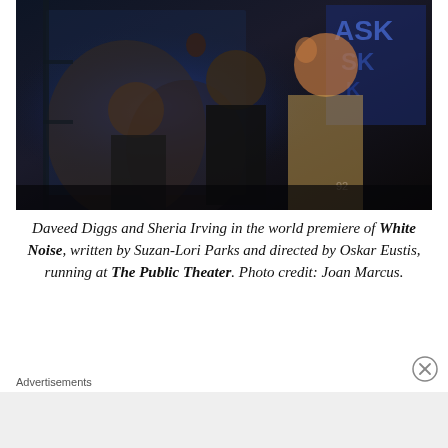[Figure (photo): Daveed Diggs and Sheria Irving on stage with raised fists at a theater event, with a projected screen showing their image in the background. A blue banner with 'ASK' text is visible.]
Daveed Diggs and Sheria Irving in the world premiere of White Noise, written by Suzan-Lori Parks and directed by Oskar Eustis, running at The Public Theater. Photo credit: Joan Marcus.
Advertisements